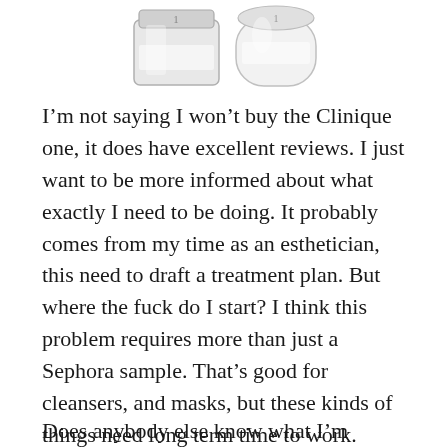[Figure (photo): Partial view of two Clinique skincare product containers (glass/clear jars with silver/white lids) shown at the top of the page, cropped]
I’m not saying I won’t buy the Clinique one, it does have excellent reviews. I just want to be more informed about what exactly I need to be doing. It probably comes from my time as an esthetician, this need to draft a treatment plan. But where the fuck do I start? I think this problem requires more than just a Sephora sample. That’s good for cleansers, and masks, but these kinds of things need long term time to work.
Does anybody else know what I’m